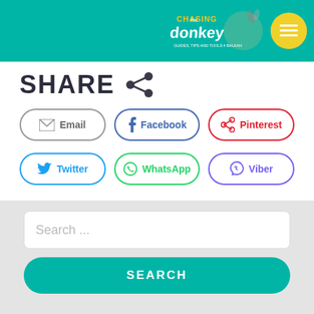[Figure (logo): Chasing the Donkey travel website header with teal background, logo, and yellow circular menu button]
SHARE
Email
Facebook
Pinterest
Twitter
WhatsApp
Viber
Search ...
SEARCH